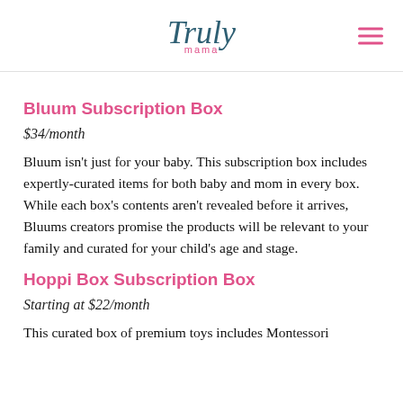Truly mama
Bluum Subscription Box
$34/month
Bluum isn't just for your baby. This subscription box includes expertly-curated items for both baby and mom in every box. While each box's contents aren't revealed before it arrives, Bluums creators promise the products will be relevant to your family and curated for your child's age and stage.
Hoppi Box Subscription Box
Starting at $22/month
This curated box of premium toys includes Montessori